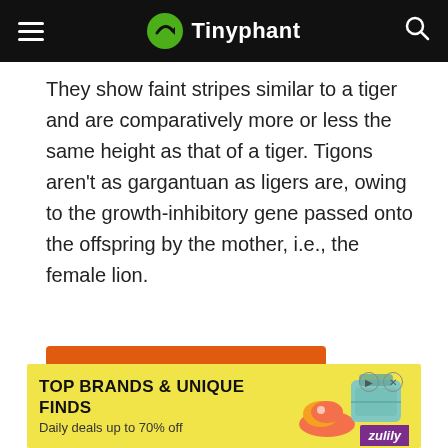Tinyphant
They show faint stripes similar to a tiger and are comparatively more or less the same height as that of a tiger. Tigons aren't as gargantuan as ligers are, owing to the growth-inhibitory gene passed onto the offspring by the mother, i.e., the female lion.
[Figure (other): Direct Relief advertisement banner: orange background with Direct Relief logo and text 'Help send medical aid to Ukraine >>']
[Figure (other): Zulily advertisement banner: yellow background with text 'TOP BRANDS & UNIQUE FINDS' and 'Daily deals up to 70% off', with shoe and bag product images and Zulily logo]